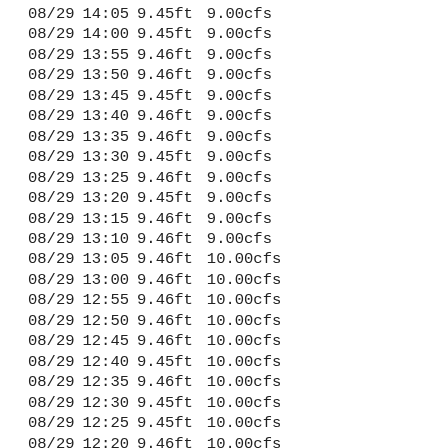| Date | Time | Stage | Flow |
| --- | --- | --- | --- |
| 08/29 | 14:05 | 9.45ft | 9.00cfs |
| 08/29 | 14:00 | 9.45ft | 9.00cfs |
| 08/29 | 13:55 | 9.46ft | 9.00cfs |
| 08/29 | 13:50 | 9.46ft | 9.00cfs |
| 08/29 | 13:45 | 9.45ft | 9.00cfs |
| 08/29 | 13:40 | 9.46ft | 9.00cfs |
| 08/29 | 13:35 | 9.46ft | 9.00cfs |
| 08/29 | 13:30 | 9.45ft | 9.00cfs |
| 08/29 | 13:25 | 9.46ft | 9.00cfs |
| 08/29 | 13:20 | 9.45ft | 9.00cfs |
| 08/29 | 13:15 | 9.46ft | 9.00cfs |
| 08/29 | 13:10 | 9.46ft | 9.00cfs |
| 08/29 | 13:05 | 9.46ft | 10.00cfs |
| 08/29 | 13:00 | 9.46ft | 10.00cfs |
| 08/29 | 12:55 | 9.46ft | 10.00cfs |
| 08/29 | 12:50 | 9.46ft | 10.00cfs |
| 08/29 | 12:45 | 9.46ft | 10.00cfs |
| 08/29 | 12:40 | 9.45ft | 10.00cfs |
| 08/29 | 12:35 | 9.46ft | 10.00cfs |
| 08/29 | 12:30 | 9.45ft | 10.00cfs |
| 08/29 | 12:25 | 9.45ft | 10.00cfs |
| 08/29 | 12:20 | 9.46ft | 10.00cfs |
| 08/29 | 12:15 | 9.46ft | 10.00cfs |
| 08/29 | 12:10 | 9.46ft | 10.00cfs |